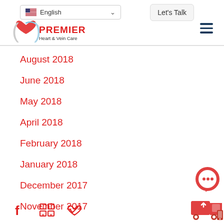English | Let's Talk | Premier Heart & Vein Care
August 2018
June 2018
May 2018
April 2018
February 2018
January 2018
December 2017
November 2017
Social media and contact icons